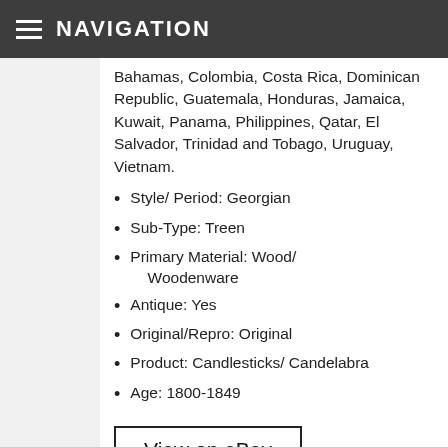NAVIGATION
Bahamas, Colombia, Costa Rica, Dominican Republic, Guatemala, Honduras, Jamaica, Kuwait, Panama, Philippines, Qatar, El Salvador, Trinidad and Tobago, Uruguay, Vietnam.
Style/ Period: Georgian
Sub-Type: Treen
Primary Material: Wood/ Woodenware
Antique: Yes
Original/Repro: Original
Product: Candlesticks/ Candelabra
Age: 1800-1849
View on eBay